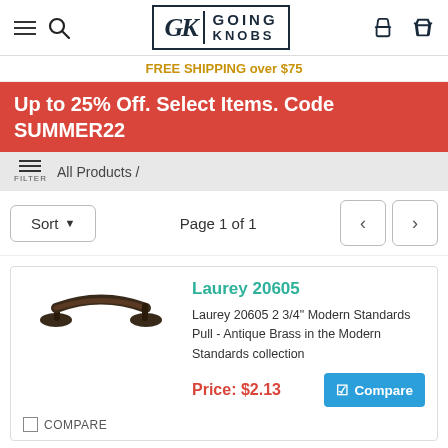[Figure (logo): Going Knobs logo with GK monogram in a bordered box]
FREE SHIPPING over $75
Up to 25% Off. Select Items. Code SUMMER22
All Products /
Sort ▼  Page 1 of 1
Laurey 20605
Laurey 20605 2 3/4" Modern Standards Pull - Antique Brass in the Modern Standards collection
Price: $2.13
Compare
COMPARE